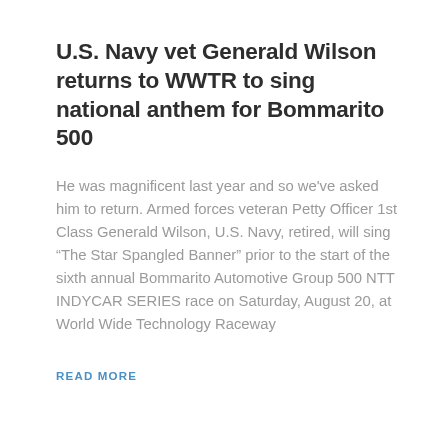U.S. Navy vet Generald Wilson returns to WWTR to sing national anthem for Bommarito 500
He was magnificent last year and so we've asked him to return. Armed forces veteran Petty Officer 1st Class Generald Wilson, U.S. Navy, retired, will sing “The Star Spangled Banner” prior to the start of the sixth annual Bommarito Automotive Group 500 NTT INDYCAR SERIES race on Saturday, August 20, at World Wide Technology Raceway
READ MORE